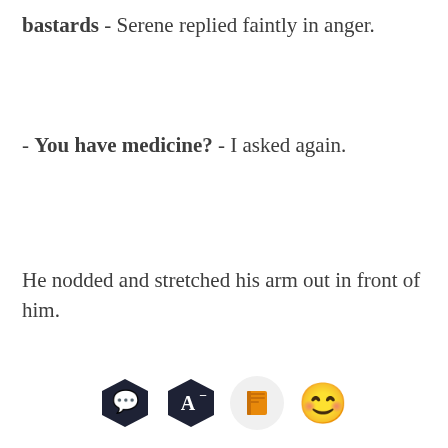bastards - Serene replied faintly in anger.
- You have medicine? - I asked again.
He nodded and stretched his arm out in front of him.
[Figure (screenshot): App toolbar with four buttons: chat bubble hexagon, font size hexagon, orange book icon, and smiling emoji]